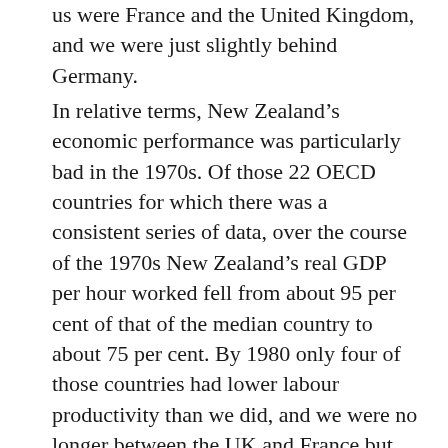us were France and the United Kingdom, and we were just slightly behind Germany.
In relative terms, New Zealand’s economic performance was particularly bad in the 1970s. Of those 22 OECD countries for which there was a consistent series of data, over the course of the 1970s New Zealand’s real GDP per hour worked fell from about 95 per cent of that of the median country to about 75 per cent. By 1980 only four of those countries had lower labour productivity than we did, and we were no longer between the UK and France but between Ireland and Finland. To younger readers, Ireland may not sound too bad, but Ireland in those days was still an underperforming economic backwater